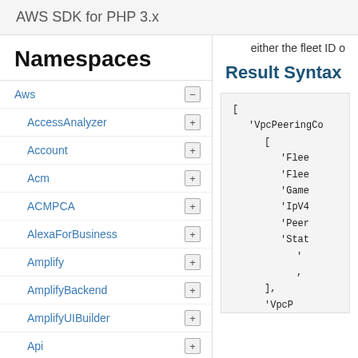AWS SDK for PHP 3.x
Namespaces
Aws
AccessAnalyzer
Account
Acm
ACMPCA
AlexaForBusiness
Amplify
AmplifyBackend
AmplifyUIBuilder
Api
ApiGateway
ApiGatewayManagementApi
either the fleet ID o
Result Syntax
[
    'VpcPeeringCo
        [
            'Flee
            'Flee
            'Game
            'IpV4
            'Peer
            'Stat
                '
                ,
            ],
        'VpcP
    ],
    // ...
]